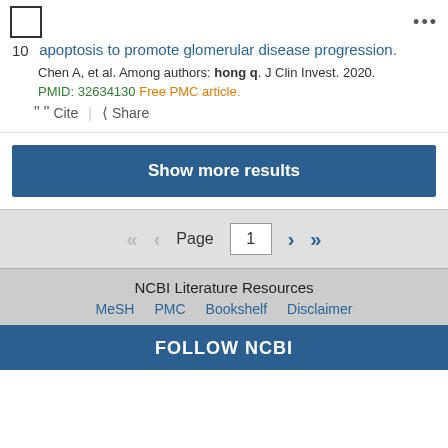apoptosis to promote glomerular disease progression.
Chen A, et al. Among authors: hong q. J Clin Invest. 2020. PMID: 32634130 Free PMC article.
Cite  Share
Show more results
Page 1
NCBI Literature Resources
MeSH   PMC   Bookshelf   Disclaimer
FOLLOW NCBI